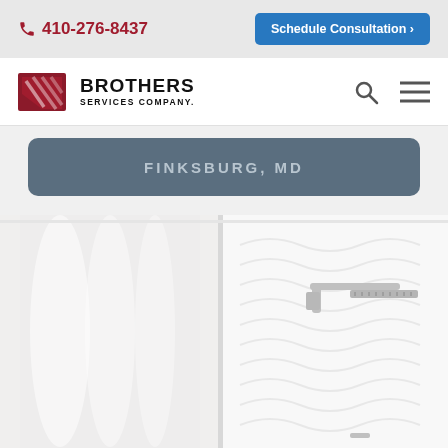410-276-8437 | Schedule Consultation >
[Figure (logo): Brothers Services Company logo with red shield icon and company name in black text]
FINKSBURG, MD
[Figure (photo): Close-up photo of a modern white walk-in shower with rainfall showerhead, white curtain on left, and textured white tile wall]